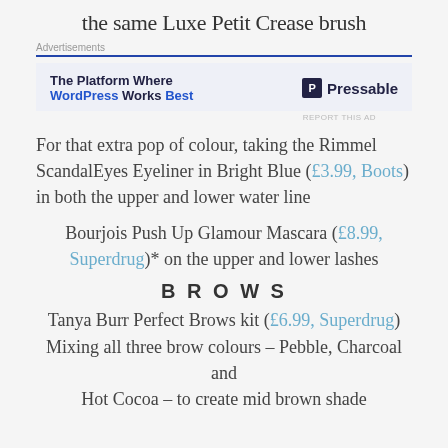the same Luxe Petit Crease brush
[Figure (other): Pressable advertisement banner with blue top border, text 'The Platform Where WordPress Works Best' and Pressable logo]
For that extra pop of colour, taking the Rimmel ScandalEyes Eyeliner in Bright Blue (£3.99, Boots) in both the upper and lower water line
Bourjois Push Up Glamour Mascara (£8.99, Superdrug)* on the upper and lower lashes
BROWS
Tanya Burr Perfect Brows kit (£6.99, Superdrug) Mixing all three brow colours – Pebble, Charcoal and Hot Cocoa – to create mid brown shade